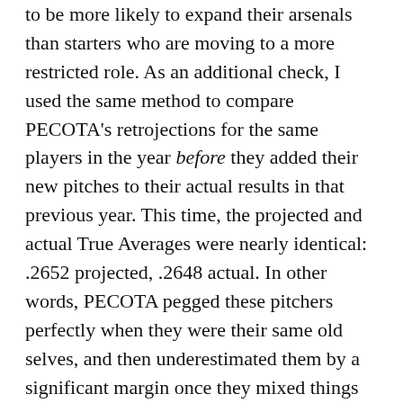to be more likely to expand their arsenals than starters who are moving to a more restricted role. As an additional check, I used the same method to compare PECOTA's retrojections for the same players in the year before they added their new pitches to their actual results in that previous year. This time, the projected and actual True Averages were nearly identical: .2652 projected, .2648 actual. In other words, PECOTA pegged these pitchers perfectly when they were their same old selves, and then underestimated them by a significant margin once they mixed things up.
Of course, the average improvement doesn’t apply to every pitcher who adds a new pitch: The benefit depends on the pitch’s nastiness and how well it complements the rest of the pitcher’s repertoire. So which pitchers are angling for the new-pitch bump this season?